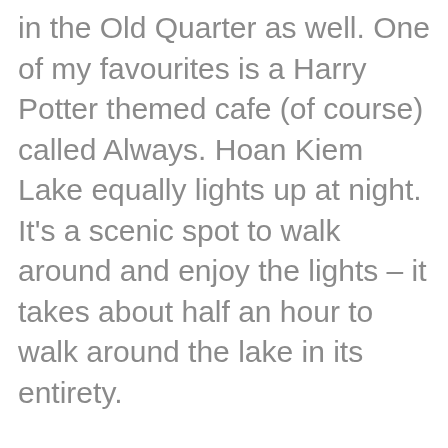in the Old Quarter as well. One of my favourites is a Harry Potter themed cafe (of course) called Always. Hoan Kiem Lake equally lights up at night. It's a scenic spot to walk around and enjoy the lights – it takes about half an hour to walk around the lake in its entirety.